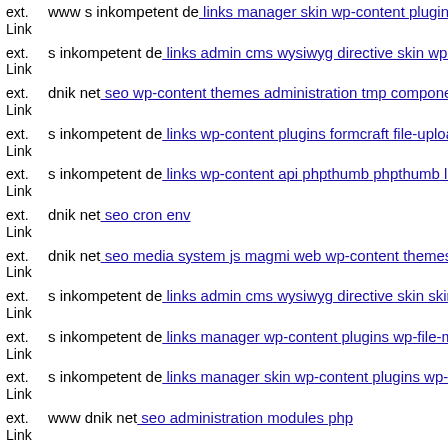ext. Link  www s inkompetent de: links manager skin wp-content plugins
ext. Link  s inkompetent de: links admin cms wysiwyg directive skin wp-
ext. Link  dnik net: seo wp-content themes administration tmp componen
ext. Link  s inkompetent de: links wp-content plugins formcraft file-uploa
ext. Link  s inkompetent de: links wp-content api phpthumb phpthumb lib
ext. Link  dnik net: seo cron env
ext. Link  dnik net: seo media system js magmi web wp-content themes c
ext. Link  s inkompetent de: links admin cms wysiwyg directive skin skin
ext. Link  s inkompetent de: links manager wp-content plugins wp-file-m
ext. Link  s inkompetent de: links manager skin wp-content plugins wp-fi
ext. Link  www dnik net: seo administration modules php